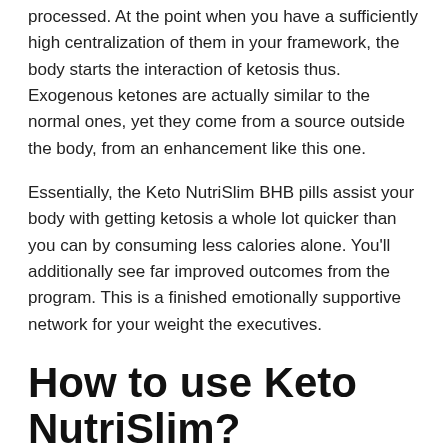processed. At the point when you have a sufficiently high centralization of them in your framework, the body starts the interaction of ketosis thus. Exogenous ketones are actually similar to the normal ones, yet they come from a source outside the body, from an enhancement like this one.
Essentially, the Keto NutriSlim BHB pills assist your body with getting ketosis a whole lot quicker than you can by consuming less calories alone. You'll additionally see far improved outcomes from the program. This is a finished emotionally supportive network for your weight the executives.
How to use Keto NutriSlim?
Keto NutriSlim We realize that a few group simply expect